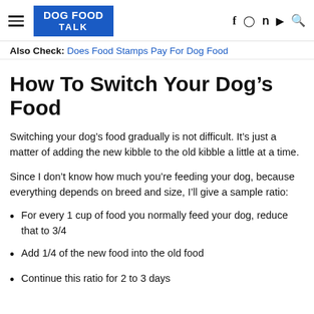DOG FOOD TALK
Also Check: Does Food Stamps Pay For Dog Food
How To Switch Your Dog's Food
Switching your dog's food gradually is not difficult. It's just a matter of adding the new kibble to the old kibble a little at a time.
Since I don't know how much you're feeding your dog, because everything depends on breed and size, I'll give a sample ratio:
For every 1 cup of food you normally feed your dog, reduce that to 3/4
Add 1/4 of the new food into the old food
Continue this ratio for 2 to 3 days